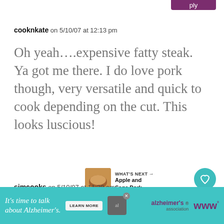[Figure (screenshot): Partial purple Reply button at top right of page, cropped]
cooknkate on 5/10/07 at 12:13 pm
Oh yeah....expensive fatty steak. Ya got me there. I do love pork though, very versatile and quick to cook depending on the cut. This looks luscious!
[Figure (other): Teal circular heart/like button and share button, purple Reply button, like count 6]
[Figure (other): What's Next panel with food image thumbnail and text: Apple and Sage Pork...]
simcooks on 5/10/07 at 11:28 am
I am a fan of pork, but not pork...
[Figure (other): Teal advertisement banner: It's time to talk about Alzheimer's. Learn More button. Alzheimer's association logo.]